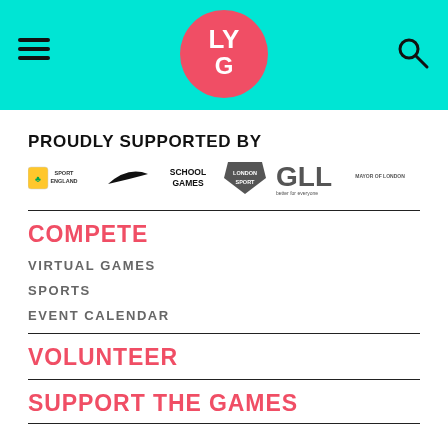LYG navigation header with logo, hamburger menu, and search icon
PROUDLY SUPPORTED BY
[Figure (logo): Row of sponsor logos: National Lottery / Sport England, Nike swoosh, School Games, London Sport, GLL better for everyone, Mayor of London]
COMPETE
VIRTUAL GAMES
SPORTS
EVENT CALENDAR
VOLUNTEER
SUPPORT THE GAMES